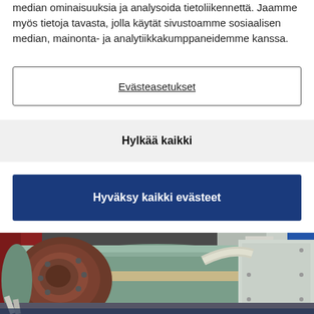median ominaisuuksia ja analysoida tietoliikennettä. Jaamme myös tietoja tavasta, jolla käytät sivustoamme sosiaalisen median, mainonta- ja analytiikkakumppaneidemme kanssa.
Evästeasetukset
Hylkää kaikki
Hyväksy kaikki evästeet
[Figure (photo): Industrial machinery — large green turbine or generator with a brown/rust-colored coupling flange on the shaft, sitting in an industrial facility with other large equipment visible in the background.]